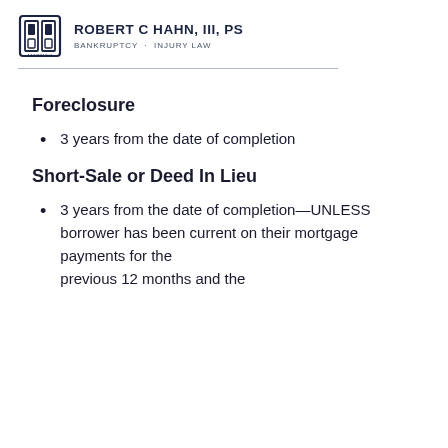ROBERT C HAHN, III, PS
BANKRUPTCY · INJURY LAW
Foreclosure
3 years from the date of completion
Short-Sale or Deed In Lieu
3 years from the date of completion—UNLESS borrower has been current on their mortgage payments for the previous 12 months and the conditions...